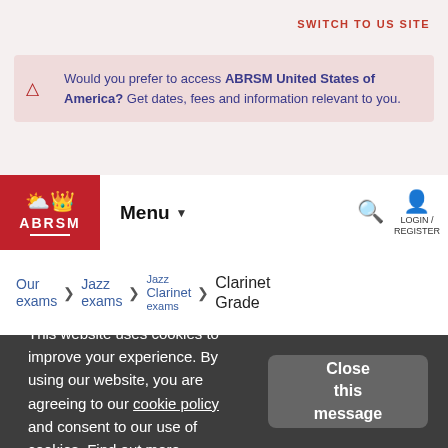SWITCH TO US SITE
Would you prefer to access ABRSM United States of America? Get dates, fees and information relevant to you.
ABRSM Menu LOGIN / REGISTER
Our exams > Jazz exams > Jazz Clarinet exams > Clarinet Grade
This website uses cookies to improve your experience. By using our website, you are agreeing to our cookie policy and consent to our use of cookies. Find out more.
Close this message